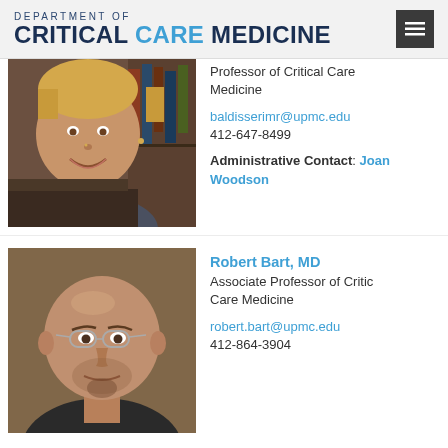Department of CRITICAL CARE MEDICINE
[Figure (photo): Photo of a woman with short blonde hair, smiling, sitting in front of bookshelves]
Professor of Critical Care Medicine
baldisserimr@upmc.edu
412-647-8499
Administrative Contact: Joan Woodson
[Figure (photo): Photo of a bald man with glasses, Robert Bart MD]
Robert Bart, MD
Associate Professor of Critical Care Medicine
robert.bart@upmc.edu
412-864-3904